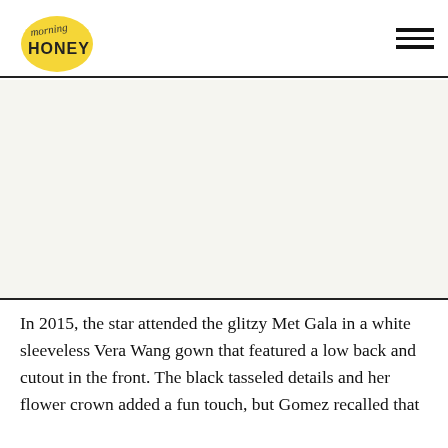morning HONEY
[Figure (photo): White/blank image area representing a photo placeholder]
In 2015, the star attended the glitzy Met Gala in a white sleeveless Vera Wang gown that featured a low back and cutout in the front. The black tasseled details and her flower crown added a fun touch, but Gomez recalled that